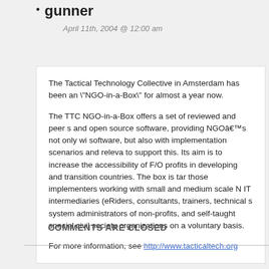gunner
April 11th, 2004 @ 12:00 am
The Tactical Technology Collective in Amsterdam has been an "NGO-in-a-Box" for almost a year now.

The TTC NGO-in-a-Box offers a set of reviewed and peer s and open source software, providing NGOâ€™s not only wi software, but also with implementation scenarios and releva to support this. Its aim is to increase the accessibility of F/O profits in developing and transition countries. The box is tar those implementers working with small and medium scale N IT intermediaries (eRiders, consultants, trainers, technical s system administrators of non-profits, and self-taught special civil society organizations on a voluntary basis.

For more information, see http://www.tacticaltech.org
COMMENTS ARE CLOSED